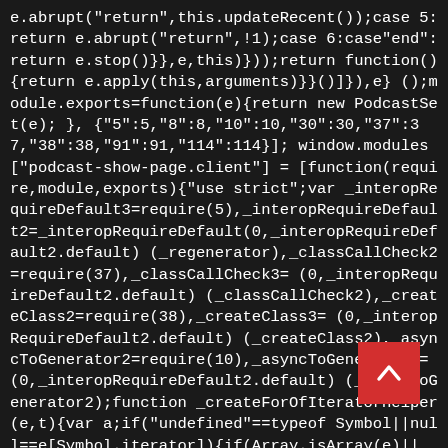e.abrupt("return",this.updateRecent());case 5:return e.abrupt("return",!1);case 6:case"end":return e.stop()}},e,this)}));return function(){return e.apply(this,arguments)}}()]}),e} ();module.exports=function(e){return new PodcastSet(e); }, {"5":5,"8":8,"10":10,"30":30,"37":37,"38":38,"91":91,"114":114}]; window.modules["podcast-show-page.client"] = [function(require,module,exports){"use strict";var _interopRequireDefault3=require(5),_interopRequireDefault2=_interopRequireDefault(0,_interopRequireDefault2.default) (_regenerator),_classCallCheck2=require(37),_classCallCheck3= (0,_interopRequireDefault2.default) (_classCallCheck2),_createClass2=require(38),_createClass3= (0,_interopRequireDefault2.default) (_createClass2),_asyncToGenerator2=require(10),_asyncToGenerator3= (0,_interopRequireDefault2.default) (_asyncToGenerator2);function _createForOfIteratorHelper(e,t){var a;if("undefined"==typeof Symbol||null==e[Symbol.iterator]){if(Array.isArray(e)||
[Figure (other): Red square button with upward-pointing chevron/caret arrow icon (scroll-to-top button)]